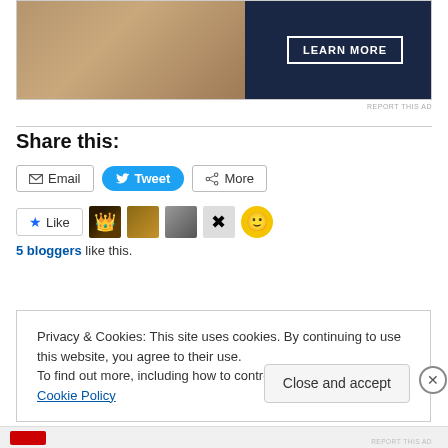[Figure (photo): Advertisement banner showing hands and a 'LEARN MORE' button over dark blue background]
REPORT THIS AD
Share this:
[Figure (other): Social sharing buttons: Email, Tweet, More]
[Figure (other): Like button with 5 blogger avatars]
5 bloggers like this.
Privacy & Cookies: This site uses cookies. By continuing to use this website, you agree to their use.
To find out more, including how to control cookies, see here: Cookie Policy
Close and accept